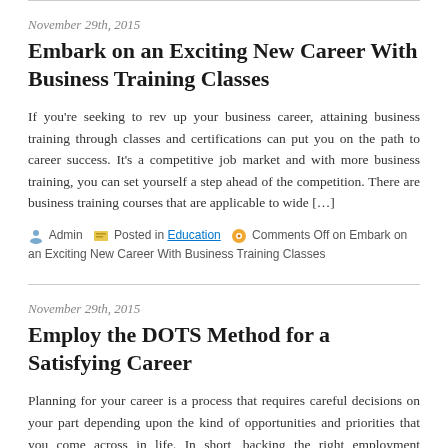November 29th, 2015
Embark on an Exciting New Career With Business Training Classes
If you're seeking to rev up your business career, attaining business training through classes and certifications can put you on the path to career success. It's a competitive job market and with more business training, you can set yourself a step ahead of the competition. There are business training courses that are applicable to wide […]
Admin  Posted in Education  Comments Off on Embark on an Exciting New Career With Business Training Classes
November 29th, 2015
Employ the DOTS Method for a Satisfying Career
Planning for your career is a process that requires careful decisions on your part depending upon the kind of opportunities and priorities that you come across in life. In short, backing the right employment opportunity is more or less, a lifelong procedure. One important career planning decision that you must make, especially in the case of